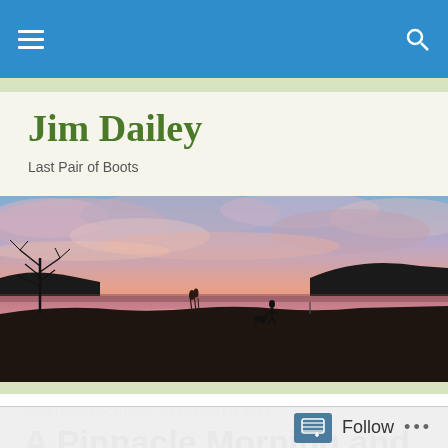Jim Dailey — navigation bar
Jim Dailey
Last Pair of Boots
[Figure (photo): Panoramic sunset photo over a lake with pink and purple clouds reflected in calm water, silhouette of a person and dog standing at the water's edge, bare trees on the left, a hill in the background.]
MONTHLY ARCHIVES: SEPTEMBER 2013
A Pinnacle Morning and
Richard Snip